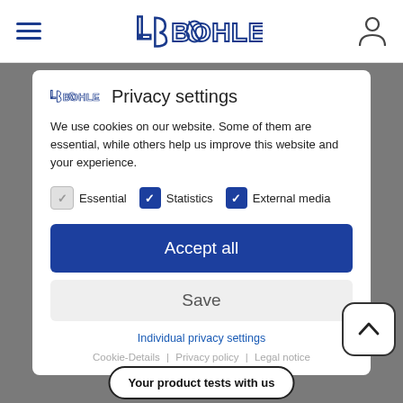[Figure (screenshot): LS Bohle logo in navigation bar, blue outlined text logo]
LS BOHLE Privacy settings
We use cookies on our website. Some of them are essential, while others help us improve this website and your experience.
Essential (checked, light gray)
Statistics (checked, dark blue)
External media (checked, dark blue)
Accept all
Save
Individual privacy settings
Cookie-Details | Privacy policy | Legal notice
Your product tests with us